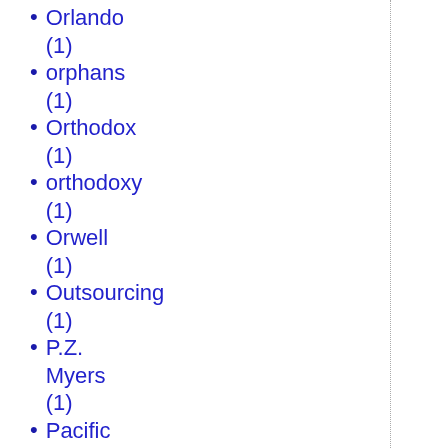Orlando (1)
orphans (1)
Orthodox (1)
orthodoxy (1)
Orwell (1)
Outsourcing (1)
P.Z. Myers (1)
Pacific War (1)
Paganism (2)
Paleoconservatives (1)
Palestine (4)
papal